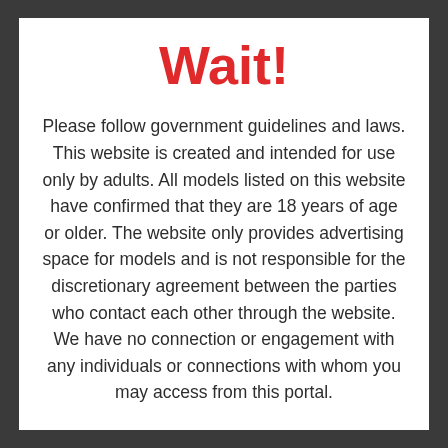Wait!
Please follow government guidelines and laws. This website is created and intended for use only by adults. All models listed on this website have confirmed that they are 18 years of age or older. The website only provides advertising space for models and is not responsible for the discretionary agreement between the parties who contact each other through the website. We have no connection or engagement with any individuals or connections with whom you may access from this portal.